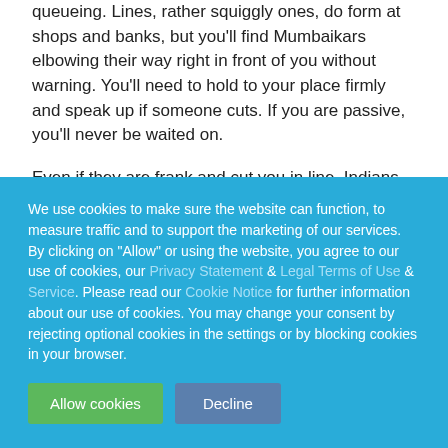queueing. Lines, rather squiggly ones, do form at shops and banks, but you'll find Mumbaikars elbowing their way right in front of you without warning. You'll need to hold to your place firmly and speak up if someone cuts. If you are passive, you'll never be waited on.
Even if they are frank and cut you in line, Indians are generally warm, friendly, and helpful people. If you are lost, feel free to ask for directions – just be aware that it is more polite in India to give made-up directions than to say…
We use cookies to make sure the website can function, to measure traffic and to support the marketing of our services. By clicking on "Allow" or using the website, you agree to our use of cookies, our Privacy Statement & Legal Terms of Use & Service. Please read our Cookie Notice for further information about our use of cookies. You may change your consent by rejecting optional cookies in the settings or by blocking cookies in your browser.